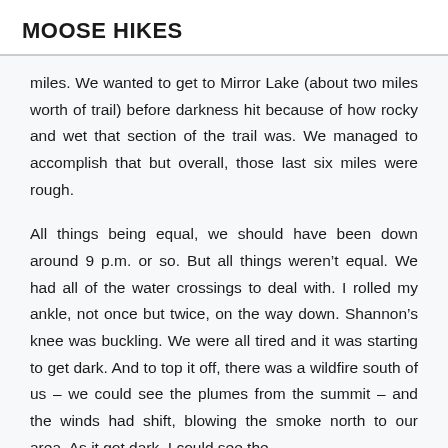MOOSE HIKES
miles. We wanted to get to Mirror Lake (about two miles worth of trail) before darkness hit because of how rocky and wet that section of the trail was. We managed to accomplish that but overall, those last six miles were rough.
All things being equal, we should have been down around 9 p.m. or so. But all things weren’t equal. We had all of the water crossings to deal with. I rolled my ankle, not once but twice, on the way down. Shannon’s knee was buckling. We were all tired and it was starting to get dark. And to top it off, there was a wildfire south of us – we could see the plumes from the summit – and the winds had shift, blowing the smoke north to our area. As it got dark, I could see the